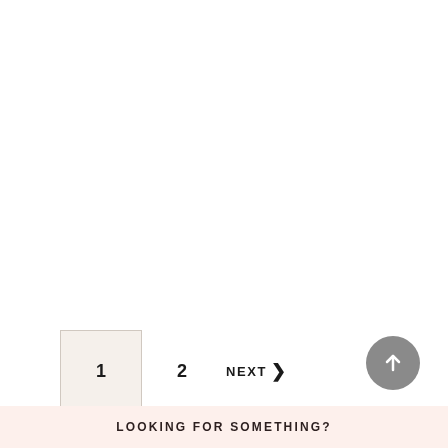1  2  NEXT
LOOKING FOR SOMETHING?